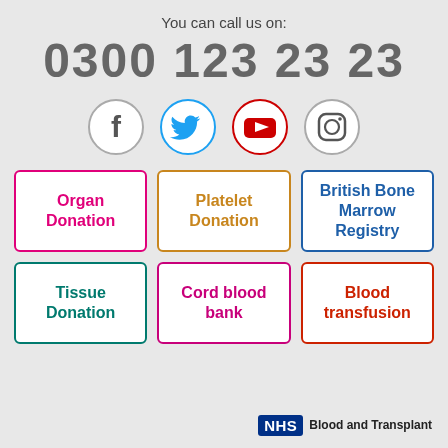You can call us on:
0300 123 23 23
[Figure (infographic): Four social media icons in circles: Facebook (grey border), Twitter (blue border), YouTube (red border), Instagram (grey border)]
Organ Donation
Platelet Donation
British Bone Marrow Registry
Tissue Donation
Cord blood bank
Blood transfusion
[Figure (logo): NHS Blood and Transplant logo — dark blue NHS badge with 'Blood and Transplant' text]